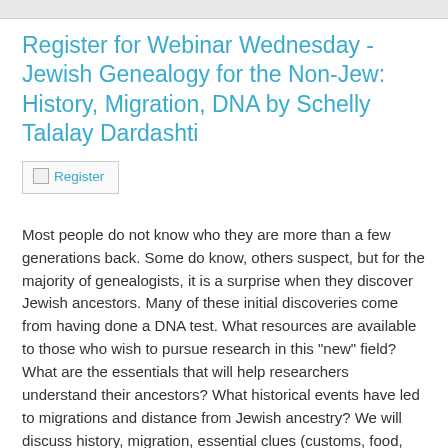Register for Webinar Wednesday - Jewish Genealogy for the Non-Jew: History, Migration, DNA by Schelly Talalay Dardashti
[Figure (other): Register button/image link with broken image icon and text 'Register']
Most people do not know who they are more than a few generations back. Some do know, others suspect, but for the majority of genealogists, it is a surprise when they discover Jewish ancestors. Many of these initial discoveries come from having done a DNA test. What resources are available to those who wish to pursue research in this "new" field? What are the essentials that will help researchers understand their ancestors? What historical events have led to migrations and distance from Jewish ancestry? We will discuss history, migration, essential clues (customs, food, terminology, languages), and much more.